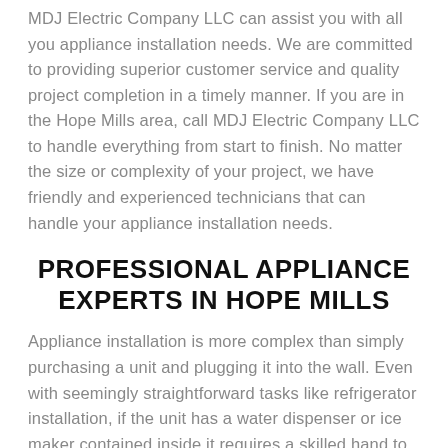MDJ Electric Company LLC can assist you with all you appliance installation needs. We are committed to providing superior customer service and quality project completion in a timely manner. If you are in the Hope Mills area, call MDJ Electric Company LLC to handle everything from start to finish. No matter the size or complexity of your project, we have friendly and experienced technicians that can handle your appliance installation needs.
PROFESSIONAL APPLIANCE EXPERTS IN HOPE MILLS
Appliance installation is more complex than simply purchasing a unit and plugging it into the wall. Even with seemingly straightforward tasks like refrigerator installation, if the unit has a water dispenser or ice maker contained inside it requires a skilled hand to successfully